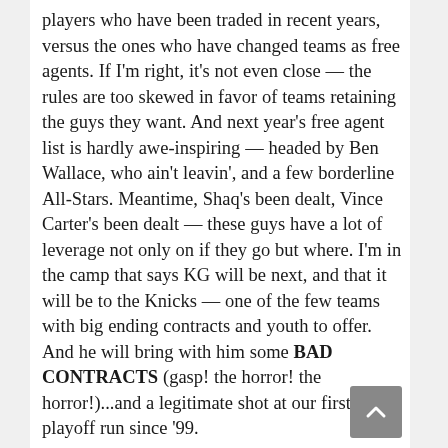players who have been traded in recent years, versus the ones who have changed teams as free agents. If I'm right, it's not even close — the rules are too skewed in favor of teams retaining the guys they want. And next year's free agent list is hardly awe-inspiring — headed by Ben Wallace, who ain't leavin', and a few borderline All-Stars. Meantime, Shaq's been dealt, Vince Carter's been dealt — these guys have a lot of leverage not only on if they go but where. I'm in the camp that says KG will be next, and that it will be to the Knicks — one of the few teams with big ending contracts and youth to offer. And he will bring with him some BAD CONTRACTS (gasp! the horror! the horror!)...and a legitimate shot at our first deep playoff run since '99.